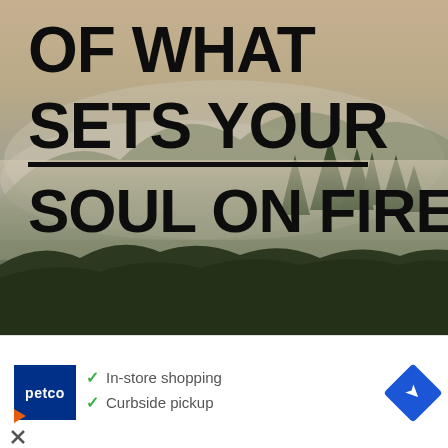[Figure (photo): Misty mountain landscape with evergreen trees, foggy hills in background. Large bold black text overlay reading 'OF WHAT SETS YOUR' with a horizontal black line, then 'SOUL ON FIRE']
[Figure (infographic): Petco advertisement banner showing: In-store shopping (checkmark), Curbside pickup (checkmark), Petco logo (blue square), directional arrow icon (blue diamond), and small play/close icons]